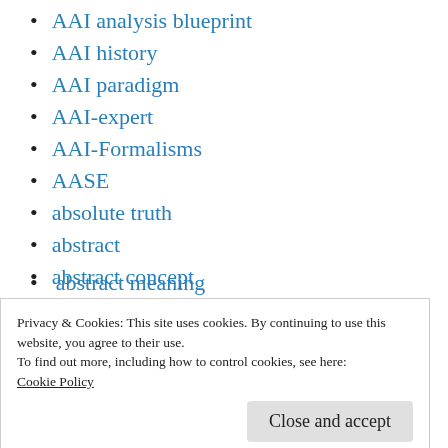AAI analysis blueprint
AAI history
AAI paradigm
AAI-expert
AAI-Formalisms
AASE
absolute truth
abstract
abstract concept
abstract expression
abstract meaning
Privacy & Cookies: This site uses cookies. By continuing to use this website, you agree to their use.
To find out more, including how to control cookies, see here:
Cookie Policy
abstraction process